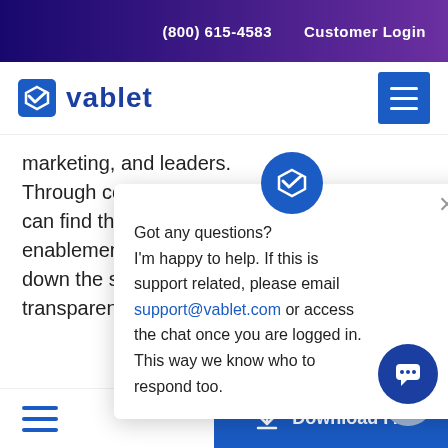(800) 615-4583   Customer Login
[Figure (logo): Vablet logo with checkmark icon and wordmark in blue, plus hamburger menu button]
marketing, and leaders. Through collaboration can find the right solution for your enablement process. T down the siloed walls a transparent.
[Figure (screenshot): Chat popup widget with Vablet icon, close button, and message: Got any questions? I'm happy to help. If this is support related, please email support@vablet.com or access the chat once you are logged in. This way we know who to respond too.]
≡   Download P...